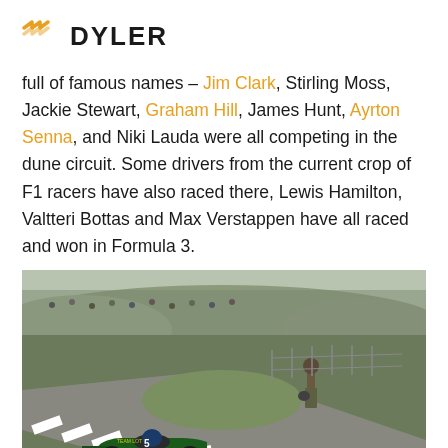DYLER
full of famous names – Jim Clark, Stirling Moss, Jackie Stewart, Graham Hill, James Hunt, Ayrton Senna, and Niki Lauda were all competing in the dune circuit. Some drivers from the current crop of F1 racers have also raced there, Lewis Hamilton, Valtteri Bottas and Max Verstappen have all raced and won in Formula 3.
[Figure (photo): Vintage Formula 1 racing photo showing a green Lotus F1 car on a circuit near sand dunes, with a person standing on a grass bank beside the track holding a helmet. Crowd visible in the background on the dunes.]